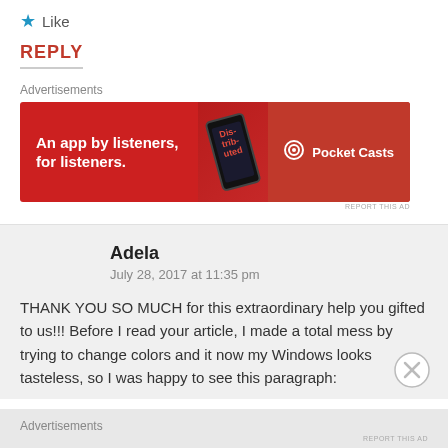★ Like
REPLY
Advertisements
[Figure (other): Pocket Casts advertisement banner: red background with text 'An app by listeners, for listeners.' and Pocket Casts logo]
REPORT THIS AD
Adela
July 28, 2017 at 11:35 pm
THANK YOU SO MUCH for this extraordinary help you gifted to us!!! Before I read your article, I made a total mess by trying to change colors and it now my Windows looks tasteless, so I was happy to see this paragraph:
Advertisements
REPORT THIS AD